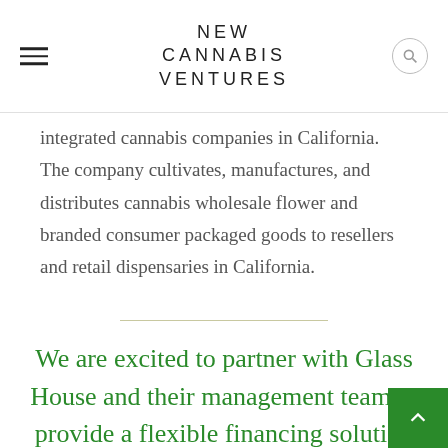NEW CANNABIS VENTURES
integrated cannabis companies in California. The company cultivates, manufactures, and distributes cannabis wholesale flower and branded consumer packaged goods to resellers and retail dispensaries in California.
We are excited to partner with Glass House and their management team to provide a flexible financing solution in support of their